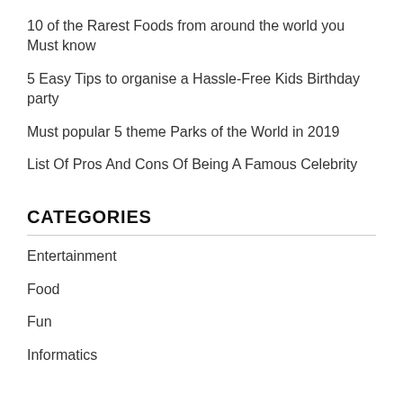10 of the Rarest Foods from around the world you Must know
5 Easy Tips to organise a Hassle-Free Kids Birthday party
Must popular 5 theme Parks of the World in 2019
List Of Pros And Cons Of Being A Famous Celebrity
CATEGORIES
Entertainment
Food
Fun
Informatics